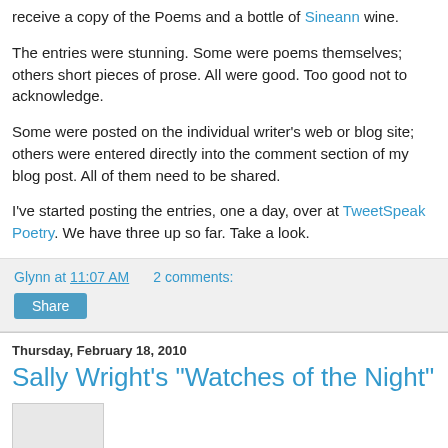receive a copy of the Poems and a bottle of Sineann wine.
The entries were stunning. Some were poems themselves; others short pieces of prose. All were good. Too good not to acknowledge.
Some were posted on the individual writer’s web or blog site; others were entered directly into the comment section of my blog post. All of them need to be shared.
I’ve started posting the entries, one a day, over at TweetSpeak Poetry. We have three up so far. Take a look.
Glynn at 11:07 AM   2 comments:
Share
Thursday, February 18, 2010
Sally Wright's "Watches of the Night"